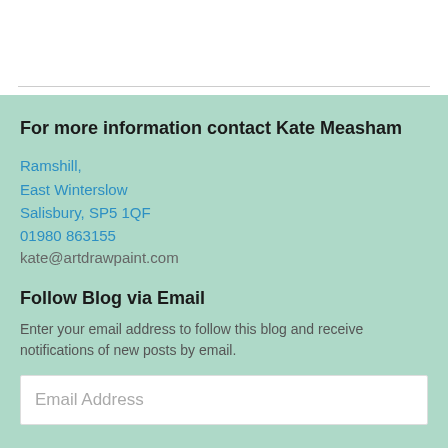For more information contact Kate Measham
Ramshill,
East Winterslow
Salisbury, SP5 1QF
01980 863155
kate@artdrawpaint.com
Follow Blog via Email
Enter your email address to follow this blog and receive notifications of new posts by email.
Email Address